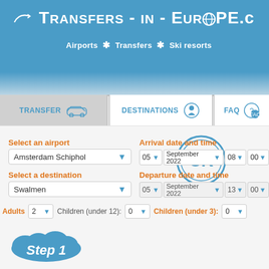[Figure (screenshot): Transfers-in-Europe.com website header with blue background, logo text, navigation links (Airports, Transfers, Ski resorts), navigation tabs (Transfer, Destinations, FAQ), a CK logo circle, a booking form with airport/destination dropdowns, arrival/departure date-time selectors, passenger counts, and Step 1 cloud button.]
Transfers - in - Europe.c
Airports * Transfers * Ski resorts
TRANSFER | DESTINATIONS | FAQ
Select an airport
Amsterdam Schiphol
Arrival date and time
05 | September 2022 | 08 | 00
Select a destination
Swalmen
Departure date and time
05 | September 2022 | 13 | 00
Adults 2  Children (under 12): 0  Children (under 3): 0
Step 1